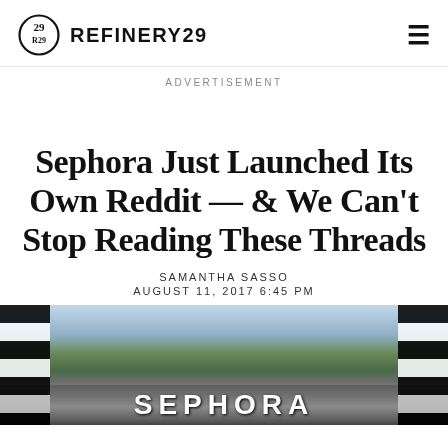REFINERY29
ADVERTISEMENT
Sephora Just Launched Its Own Reddit — & We Can't Stop Reading These Threads
SAMANTHA SASSO
AUGUST 11, 2017 6:45 PM
[Figure (photo): Sephora store exterior with black and white vertical stripes on sides and large SEPHORA lettering at the bottom, trees and building reflections visible in glass]